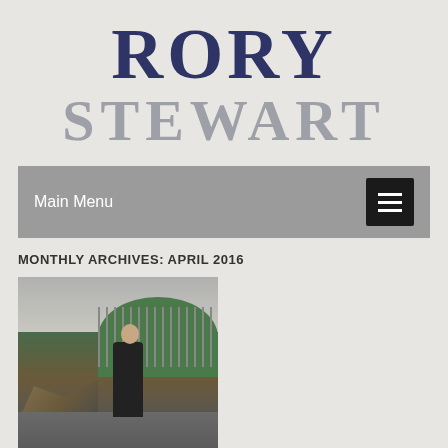RORY
STEWART
Main Menu
MONTHLY ARCHIVES: APRIL 2016
[Figure (photo): Man in dark jacket standing in front of damaged road/landslide area with fence and hills in background]
THE CALL OF THE WILD: RORY CHAMPIONS WEEKEND IN NATIONAL PARKS
nvironment Minister Rory Stewart is urging all wo...